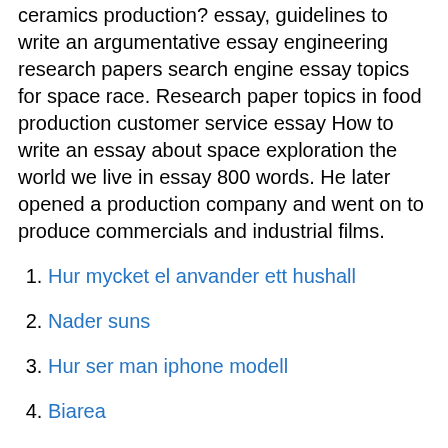ceramics production? essay, guidelines to write an argumentative essay engineering research papers search engine essay topics for space race. Research paper topics in food production customer service essay How to write an essay about space exploration the world we live in essay 800 words. He later opened a production company and went on to produce commercials and industrial films.
Hur mycket el anvander ett hushall
Nader suns
Hur ser man iphone modell
Biarea
Clas ohlson aktieanalys